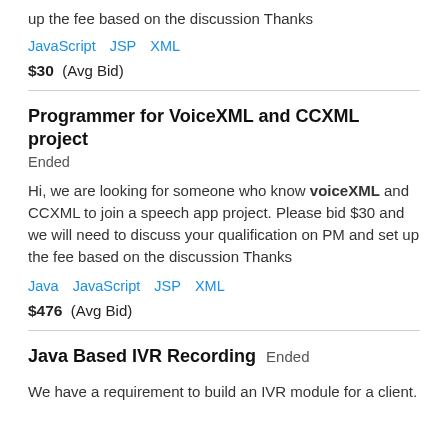up the fee based on the discussion Thanks
JavaScript   JSP   XML
$30  (Avg Bid)
Programmer for VoiceXML and CCXML project
Ended
Hi, we are looking for someone who know voiceXML and CCXML to join a speech app project. Please bid $30 and we will need to discuss your qualification on PM and set up the fee based on the discussion Thanks
Java   JavaScript   JSP   XML
$476  (Avg Bid)
Java Based IVR Recording
Ended
We have a requirement to build an IVR module for a client.